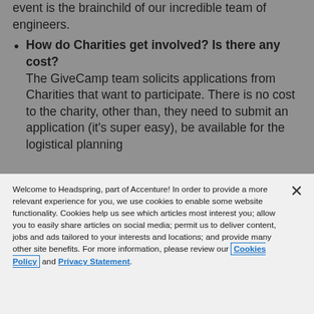event is the brainchild of our incredible team of engineers.
How do Charities get involved? Is there any cost? The GiveCamp team solicits applications from Charities that want to participate. There is no cost to the charity, other than, they need to submit an application (it's super easy), be available for the logistical planning
Welcome to Headspring, part of Accenture! In order to provide a more relevant experience for you, we use cookies to enable some website functionality. Cookies help us see which articles most interest you; allow you to easily share articles on social media; permit us to deliver content, jobs and ads tailored to your interests and locations; and provide many other site benefits. For more information, please review our Cookies Policy and Privacy Statement.